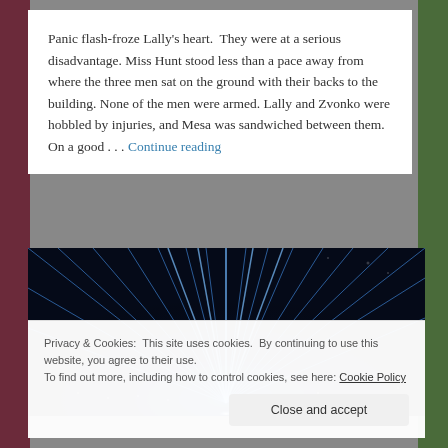Panic flash-froze Lally's heart.  They were at a serious disadvantage. Miss Hunt stood less than a pace away from where the three men sat on the ground with their backs to the building. None of the men were armed. Lally and Zvonko were hobbled by injuries, and Mesa was sandwiched between them. On a good . . . Continue reading
[Figure (photo): Concert hall with dramatic blue light rays radiating from a central stage point against a dark background, with audience visible below]
Privacy & Cookies: This site uses cookies. By continuing to use this website, you agree to their use.
To find out more, including how to control cookies, see here: Cookie Policy
Close and accept